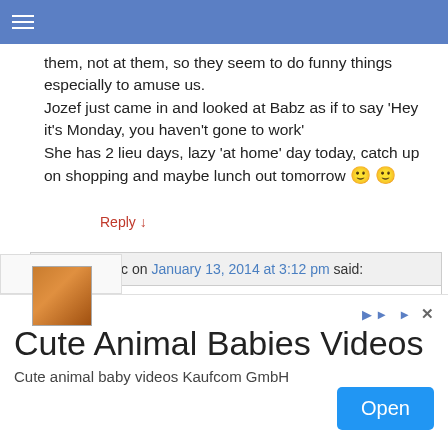Navigation bar with hamburger menu
them, not at them, so they seem to do funny things especially to amuse us.
Jozef just came in and looked at Babz as if to say 'Hey it's Monday, you haven't gone to work'
She has 2 lieu days, lazy 'at home' day today, catch up on shopping and maybe lunch out tomorrow 🙂 🙂
Reply ↓
marc on January 13, 2014 at 3:12 pm said:
Yeah Babz is a great writer.

I vote that Babz is a great writer AND poster maker who should feel free to make another article if she feels like it
[Figure (screenshot): Advertisement banner: Cute Animal Babies Videos - Cute animal baby videos Kaufcom GmbH with an Open button]